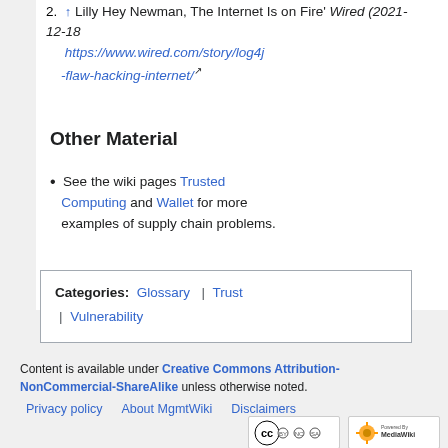2. ↑ Lilly Hey Newman, The Internet Is on Fire' Wired (2021-12-18 https://www.wired.com/story/log4j-flaw-hacking-internet/
Other Material
See the wiki pages Trusted Computing and Wallet for more examples of supply chain problems.
Categories: Glossary | Trust | Vulnerability
Content is available under Creative Commons Attribution-NonCommercial-ShareAlike unless otherwise noted.
Privacy policy About MgmtWiki Disclaimers